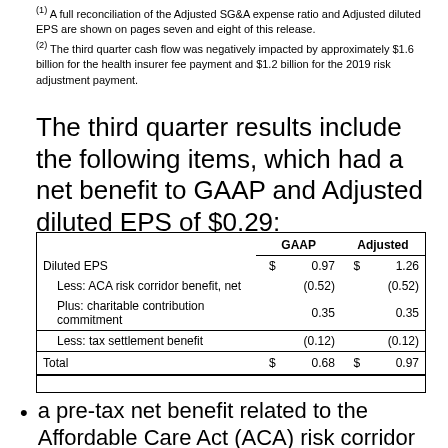(1) A full reconciliation of the Adjusted SG&A expense ratio and Adjusted diluted EPS are shown on pages seven and eight of this release.
(2) The third quarter cash flow was negatively impacted by approximately $1.6 billion for the health insurer fee payment and $1.2 billion for the 2019 risk adjustment payment.
The third quarter results include the following items, which had a net benefit to GAAP and Adjusted diluted EPS of $0.29:
|  | GAAP |  | Adjusted |  |
| --- | --- | --- | --- | --- |
| Diluted EPS | $ | 0.97 | $ | 1.26 |
| Less: ACA risk corridor benefit, net |  | (0.52) |  | (0.52) |
| Plus: charitable contribution commitment |  | 0.35 |  | 0.35 |
| Less: tax settlement benefit |  | (0.12) |  | (0.12) |
| Total | $ | 0.68 | $ | 0.97 |
a pre-tax net benefit related to the Affordable Care Act (ACA) risk corridor receivable